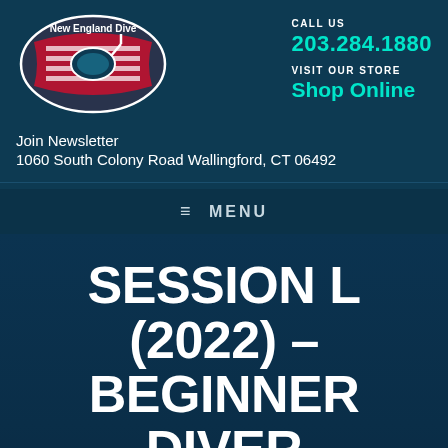[Figure (logo): New England Dive logo with diver and American flag motif]
CALL US
203.284.1880
VISIT OUR STORE
Shop Online
Join Newsletter
1060 South Colony Road Wallingford, CT 06492
MENU
SESSION L (2022) – BEGINNER DIVER (2/3)